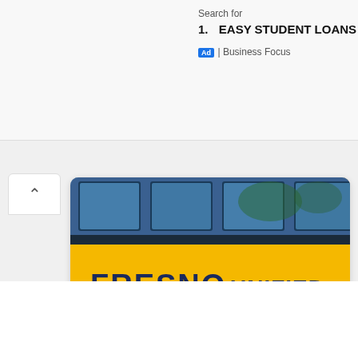Search for
1. EASY STUDENT LOANS
Ad | Business Focus
[Figure (photo): Side view of a yellow Fresno Unified School District bus with dark blue lettering reading 'FRESNO UNIFIED SCHOOL' on the side and blue-tinted windows visible above.]
₿ 7,404,680 Monthly Visits
US Popular In
UP
1h ago